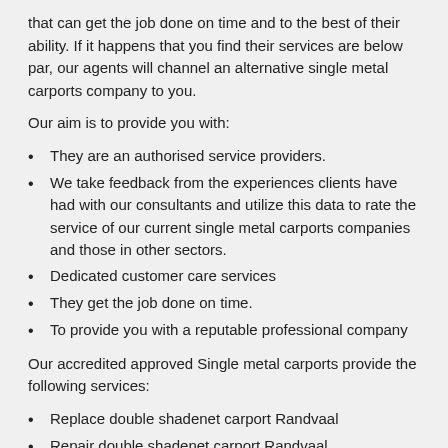that can get the job done on time and to the best of their ability. If it happens that you find their services are below par, our agents will channel an alternative single metal carports company to you.
Our aim is to provide you with:
They are an authorised service providers.
We take feedback from the experiences clients have had with our consultants and utilize this data to rate the service of our current single metal carports companies and those in other sectors.
Dedicated customer care services
They get the job done on time.
To provide you with a reputable professional company
Our accredited approved Single metal carports provide the following services:
Replace double shadenet carport Randvaal
Repair double shadenet carport Randvaal
New shadenet carports Randvaal
Repair double metal carport Randvaal
Double steel carports Randvaal
Repair single metal carport Randvaal
Single metal carports Randvaal
Install new shadenet carport Randvaal
Install new steel carport Randvaal
Double metal carports Randvaal
Install new metal carport Randvaal